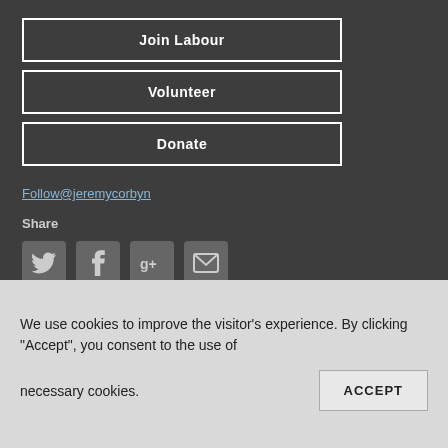Join Labour
Volunteer
Donate
Follow@jeremycorbyn
Share
[Figure (infographic): Four social media share icons: Twitter (bird), Facebook (f), Google+ (g+), Email (envelope)]
We use cookies to improve the visitor's experience. By clicking “Accept”, you consent to the use of necessary cookies.
ACCEPT